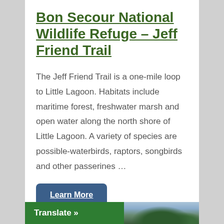Bon Secour National Wildlife Refuge – Jeff Friend Trail
The Jeff Friend Trail is a one-mile loop to Little Lagoon. Habitats include maritime forest, freshwater marsh and open water along the north shore of Little Lagoon. A variety of species are possible-waterbirds, raptors, songbirds and other passerines …
Learn More
Translate »
[Figure (photo): Partial landscape photo showing trees and sky, visible at the bottom right of the page.]